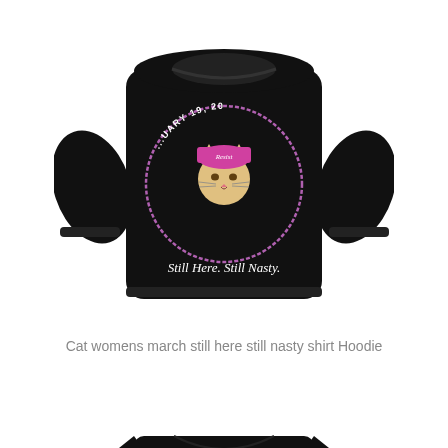[Figure (photo): Black hoodie/sweatshirt with a circular design showing Women's March, January 19, 20__ and text 'Still Here. Still Nasty.' with a cat wearing a pink pussy hat in the center]
Cat womens march still here still nasty shirt Hoodie
[Figure (photo): Black t-shirt with a circular design showing WOMEN'S MARCH, JANUARY 19, 2019 and text 'Still Here. Still Nasty.' with a cat wearing a pink pussy hat with 'Resist' text in the center]